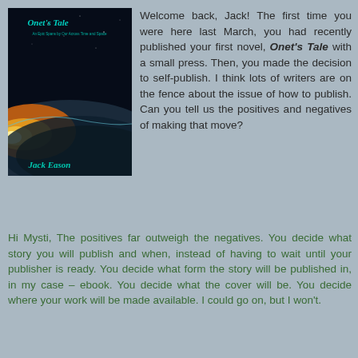[Figure (illustration): Book cover of 'Onet's Tale' by Jack Eason showing a space/planet scene with glowing horizon light and dark space background. Title in teal text at top, author name in teal at bottom.]
Welcome back, Jack! The first time you were here last March, you had recently published your first novel, Onet's Tale with a small press. Then, you made the decision to self-publish. I think lots of writers are on the fence about the issue of how to publish. Can you tell us the positives and negatives of making that move?
Hi Mysti, The positives far outweigh the negatives. You decide what story you will publish and when, instead of having to wait until your publisher is ready. You decide what form the story will be published in, in my case – ebook. You decide what the cover will be. You decide where your work will be made available. I could go on, but I won't.